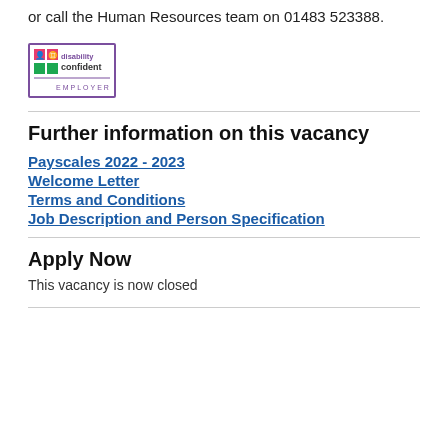or call the Human Resources team on 01483 523388.
[Figure (logo): Disability Confident Employer logo — purple bordered box with colourful squares and text 'disability confident EMPLOYER']
Further information on this vacancy
Payscales 2022 - 2023
Welcome Letter
Terms and Conditions
Job Description and Person Specification
Apply Now
This vacancy is now closed